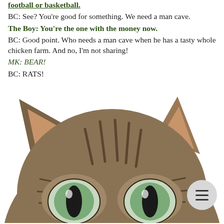football or basketball.
BC: See? You're good for something. We need a man cave.
The Boy: You're the one with the money now.
BC: Good point. Who needs a man cave when he has a tasty whole chicken farm. And no, I'm not sharing!
MK: BEAR!
BC: RATS!
[Figure (photo): Close-up photo of a tabby cat's face peeking up from the bottom of the frame, with large green eyes, pointed ears, and striped fur on a white background. A circular grey hamburger menu button is overlaid in the lower right area.]